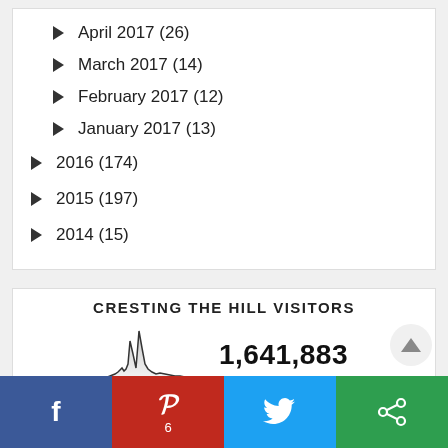► April 2017 (26)
► March 2017 (14)
► February 2017 (12)
► January 2017 (13)
► 2016 (174)
► 2015 (197)
► 2014 (15)
CRESTING THE HILL VISITORS
[Figure (continuous-plot): Small sparkline area chart showing visitor traffic over time]
1,641,883